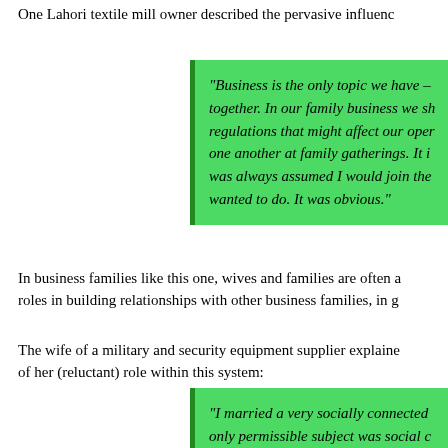One Lahori textile mill owner described the pervasive influenc
“Business is the only topic we have – together. In our family business we sh regulations that might affect our oper one another at family gatherings. It i was always assumed I would join the wanted to do. It was obvious.”
In business families like this one, wives and families are often a roles in building relationships with other business families, in g
The wife of a military and security equipment supplier explaine of her (reluctant) role within this system:
“I married a very socially connected only permissible subject was social c family member would bring their ow through her women’s network, his ni whose father had become a Genera